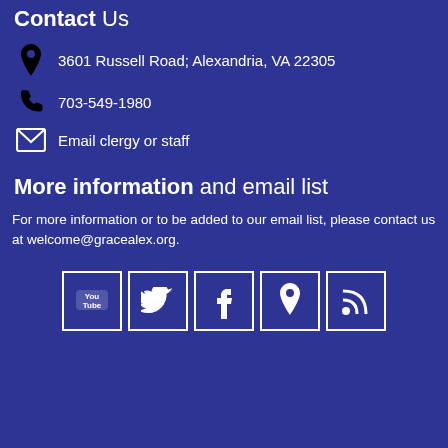Contact Us
3601 Russell Road; Alexandria, VA 22305
703-549-1980
Email clergy or staff
More information and email list
For more information or to be added to our email list, please contact us at welcome@gracealex.org.
[Figure (other): Social media icons: YouTube, Twitter, Facebook, Location pin, RSS feed]